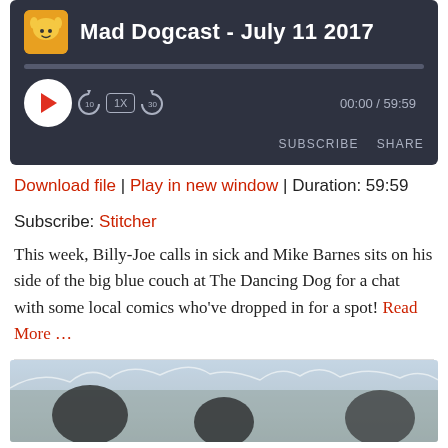[Figure (screenshot): Podcast audio player widget with dark background showing 'Mad Dogcast - July 11 2017' title, play button, progress bar, playback controls (10s back, 1X speed, 30s forward), time display 00:00 / 59:59, Subscribe and Share buttons, and a podcast logo icon.]
Download file | Play in new window | Duration: 59:59
Subscribe: Stitcher
This week, Billy-Joe calls in sick and Mike Barnes sits on his side of the big blue couch at The Dancing Dog for a chat with some local comics who've dropped in for a spot! Read More …
[Figure (photo): Partial photo at bottom showing people in what appears to be an indoor setting, cropped at bottom of page.]